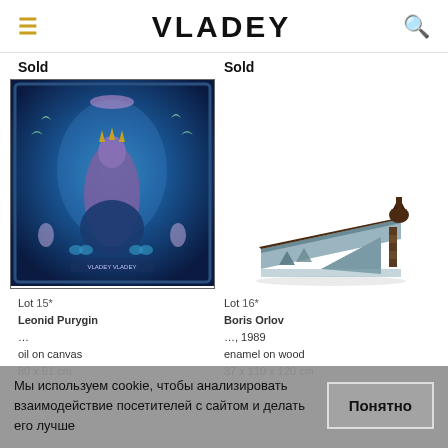VLADEY
Sold
Sold
[Figure (illustration): Oil painting of a mystical female figure with crown surrounded by birds, butterflies and other figures on a blue background]
[Figure (photo): Sculpture of a geometric angular structure resembling a ramp or staircase with a horse head, in metal/wood materials]
Lot 15*
Leonid Purygin
…
oil on canvas
80 x 61 cm
Lot 16*
Boris Orlov
…, 1989
enamel on wood
37 x 110 x 120 cm
Мы используем cookie, чтобы анализировать взаимодействие посетителей с сайтом и делать его лучше
Понятно